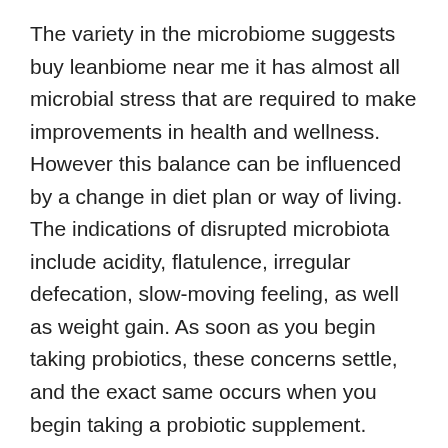The variety in the microbiome suggests buy leanbiome near me it has almost all microbial stress that are required to make improvements in health and wellness. However this balance can be influenced by a change in diet plan or way of living. The indications of disrupted microbiota include acidity, flatulence, irregular defecation, slow-moving feeling, as well as weight gain. As soon as you begin taking probiotics, these concerns settle, and the exact same occurs when you begin taking a probiotic supplement.
From the details collected, LeanBiome can conveniently be labelled as one of the top probiotic supplements nowadays, and also there are a lot of reasons to trust this product. Based on the main internet site, it regulates brain and also